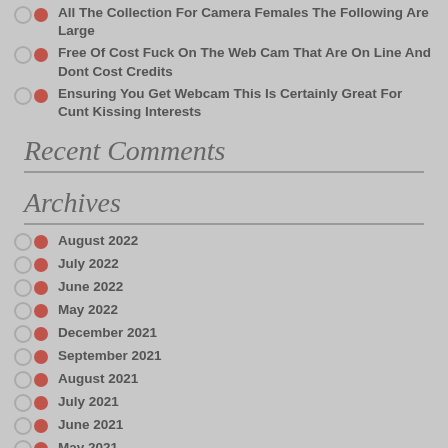All The Collection For Camera Females The Following Are Large
Free Of Cost Fuck On The Web Cam That Are On Line And Dont Cost Credits
Ensuring You Get Webcam This Is Certainly Great For Cunt Kissing Interests
Recent Comments
Archives
August 2022
July 2022
June 2022
May 2022
December 2021
September 2021
August 2021
July 2021
June 2021
May 2021
April 2021